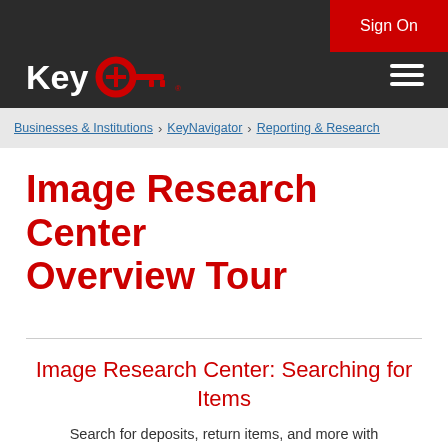Sign On
[Figure (logo): KeyBank logo with red key icon and white 'Key' text on dark background]
Businesses & Institutions > KeyNavigator > Reporting & Research
Image Research Center Overview Tour
Image Research Center: Searching for Items
Search for deposits, return items, and more with